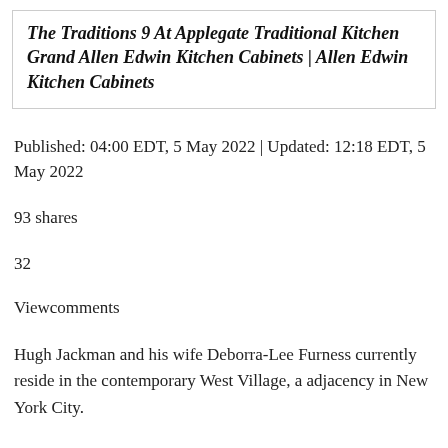The Traditions 9 At Applegate Traditional Kitchen Grand Allen Edwin Kitchen Cabinets | Allen Edwin Kitchen Cabinets
Published: 04:00 EDT, 5 May 2022 | Updated: 12:18 EDT, 5 May 2022
93 shares
32
Viewcomments
Hugh Jackman and his wife Deborra-Lee Furness currently reside in the contemporary West Village, a adjacency in New York City.